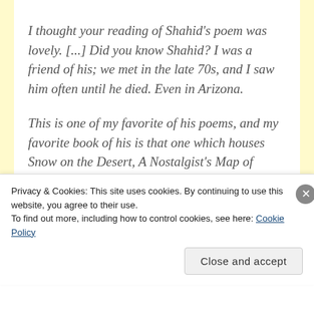I thought your reading of Shahid's poem was lovely. [...] Did you know Shahid? I was a friend of his; we met in the late 70s, and I saw him often until he died. Even in Arizona.
This is one of my favorite of his poems, and my favorite book of his is that one which houses Snow on the Desert, A Nostalgist's Map of
Privacy & Cookies: This site uses cookies. By continuing to use this website, you agree to their use.
To find out more, including how to control cookies, see here: Cookie Policy